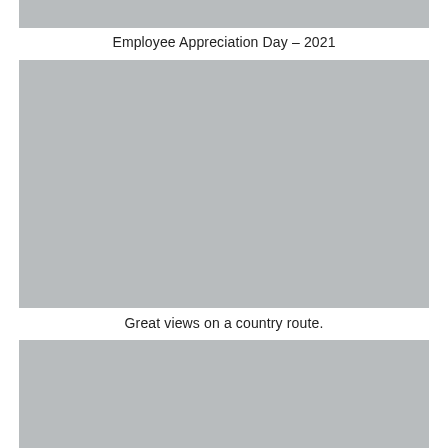[Figure (photo): Top partial photo strip, gray placeholder]
Employee Appreciation Day – 2021
[Figure (photo): Large gray placeholder photo, main image for Employee Appreciation Day 2021]
Great views on a country route.
[Figure (photo): Bottom gray placeholder photo, partial view of a country route]